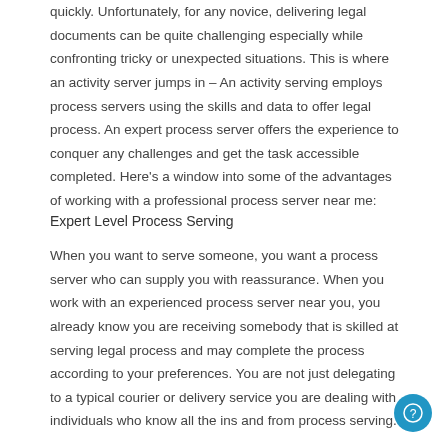quickly. Unfortunately, for any novice, delivering legal documents can be quite challenging especially while confronting tricky or unexpected situations. This is where an activity server jumps in – An activity serving employs process servers using the skills and data to offer legal process. An expert process server offers the experience to conquer any challenges and get the task accessible completed. Here's a window into some of the advantages of working with a professional process server near me:
Expert Level Process Serving
When you want to serve someone, you want a process server who can supply you with reassurance. When you work with an experienced process server near you, you already know you are receiving somebody that is skilled at serving legal process and may complete the process according to your preferences. You are not just delegating to a typical courier or delivery service you are dealing with individuals who know all the ins and from process serving.